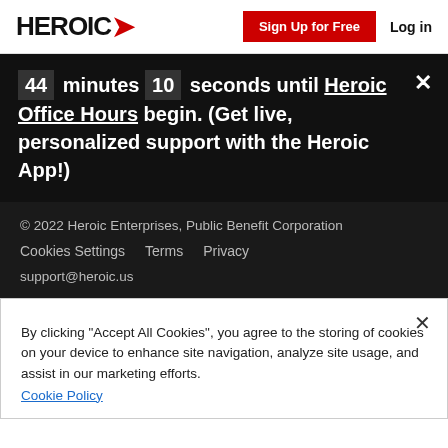HEROIC | Sign Up for Free  Log in
44 minutes 10 seconds until Heroic Office Hours begin. (Get live, personalized support with the Heroic App!)
© 2022 Heroic Enterprises, Public Benefit Corporation
Cookies Settings  Terms  Privacy
support@heroic.us
By clicking "Accept All Cookies", you agree to the storing of cookies on your device to enhance site navigation, analyze site usage, and assist in our marketing efforts.
Cookie Policy